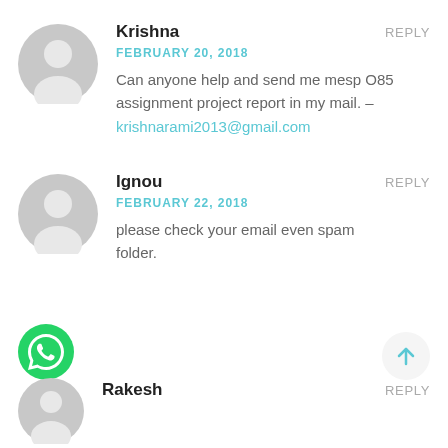[Figure (illustration): Gray default user avatar circle for Krishna]
Krishna
REPLY
FEBRUARY 20, 2018
Can anyone help and send me mesp O85 assignment project report in my mail. – krishnarami2013@gmail.com
[Figure (illustration): Gray default user avatar circle for Ignou]
Ignou
REPLY
FEBRUARY 22, 2018
please check your email even spam folder.
[Figure (logo): WhatsApp green phone icon button]
[Figure (other): Scroll to top arrow button]
[Figure (illustration): Gray default user avatar circle for Rakesh]
Rakesh
REPLY